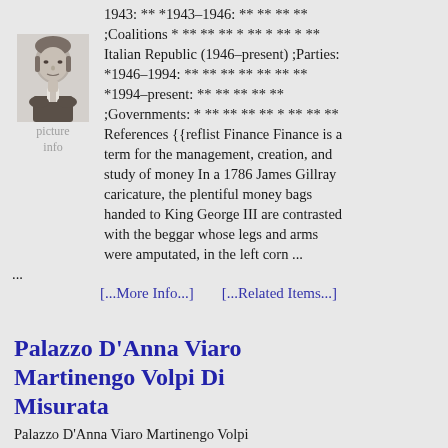[Figure (illustration): Grayscale portrait engraving of a 19th-century man with sideburns, wearing a jacket and cravat. Below the portrait is the text 'picture' and 'info' in light gray.]
1943: ** *1943–1946: ** ** ** ** ;Coalitions * ** ** ** * ** * ** * ** Italian Republic (1946–present) ;Parties: *1946–1994: ** ** ** ** ** ** ** *1994–present: ** ** ** ** ** ;Governments: * ** ** ** ** * ** ** ** References {{reflist Finance Finance is a term for the management, creation, and study of money In a 1786 James Gillray caricature, the plentiful money bags handed to King George III are contrasted with the beggar whose legs and arms were amputated, in the left corn ...
...
[...More Info...]      [...Related Items...]
Palazzo D'Anna Viaro Martinengo Volpi Di Misurata
Palazzo D'Anna Viaro Martinengo Volpi di Misurata, also known as Palazzo